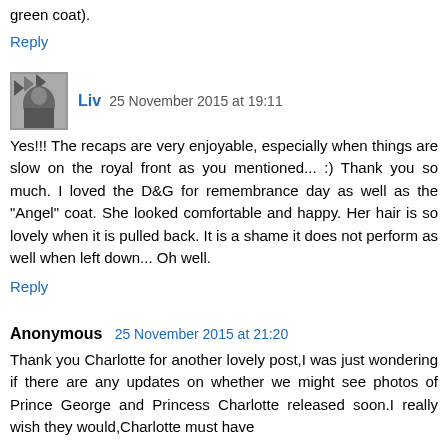green coat).
Reply
Liv 25 November 2015 at 19:11
Yes!!! The recaps are very enjoyable, especially when things are slow on the royal front as you mentioned... :) Thank you so much. I loved the D&G for remembrance day as well as the "Angel" coat. She looked comfortable and happy. Her hair is so lovely when it is pulled back. It is a shame it does not perform as well when left down... Oh well.
Reply
Anonymous 25 November 2015 at 21:20
Thank you Charlotte for another lovely post,I was just wondering if there are any updates on whether we might see photos of Prince George and Princess Charlotte released soon.I really wish they would,Charlotte must have